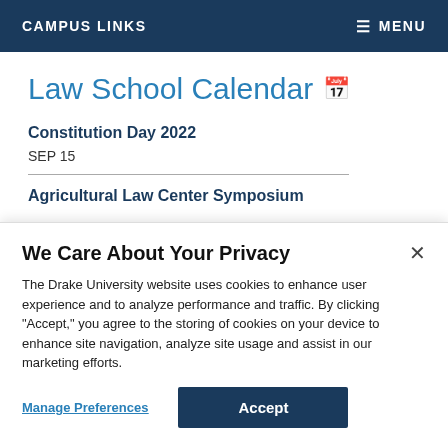CAMPUS LINKS    MENU
Law School Calendar
Constitution Day 2022
SEP 15
Agricultural Law Center Symposium
We Care About Your Privacy
The Drake University website uses cookies to enhance user experience and to analyze performance and traffic. By clicking "Accept," you agree to the storing of cookies on your device to enhance site navigation, analyze site usage and assist in our marketing efforts.
Manage Preferences   Accept